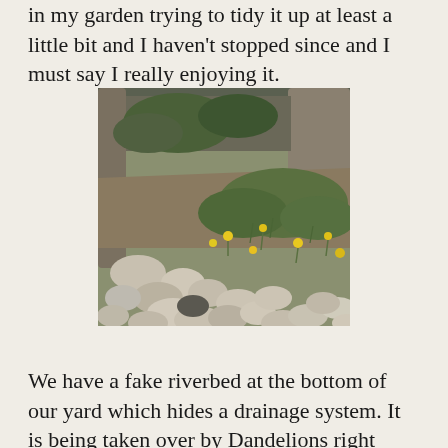in my garden trying to tidy it up at least a little bit and I haven't stopped since and I must say I really enjoying it.
[Figure (photo): Outdoor garden photo showing a dry riverbed made of rounded river stones with dandelion flowers (yellow) and green weeds growing between the rocks, with a wooden fence and large tree trunks visible in the background.]
We have a fake riverbed at the bottom of our yard which hides a drainage system. It is being taken over by Dandelions right now.